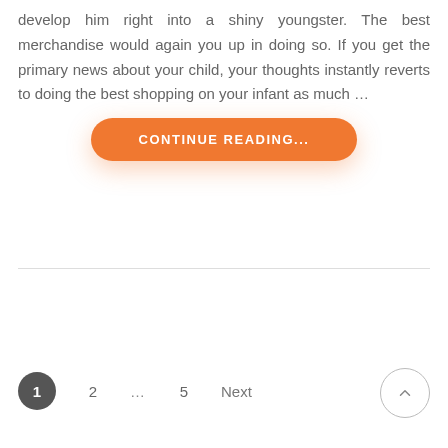develop him right into a shiny youngster. The best merchandise would again you up in doing so. If you get the primary news about your child, your thoughts instantly reverts to doing the best shopping on your infant as much …
[Figure (other): Orange pill-shaped button with text CONTINUE READING...]
1  2  …  5  Next